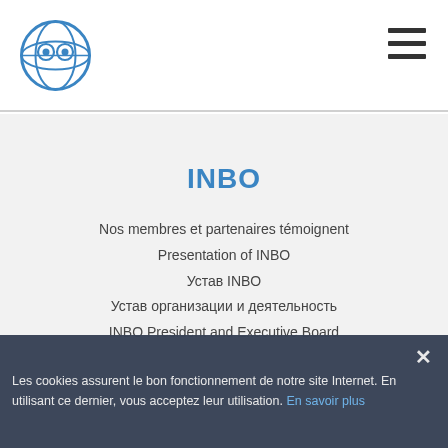[Figure (logo): INBO organization logo - circular globe/eye design in blue]
[Figure (other): Hamburger menu icon - three horizontal dark lines]
INBO
Nos membres et partenaires témoignent
Presentation of INBO
Устав INBO
Устав организации и деятельность
INBO President and Executive Board
Les cookies assurent le bon fonctionnement de notre site Internet. En utilisant ce dernier, vous acceptez leur utilisation. En savoir plus